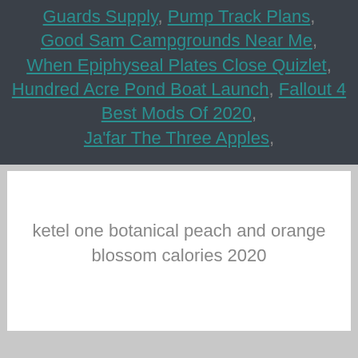Guards Supply, Pump Track Plans, Good Sam Campgrounds Near Me, When Epiphyseal Plates Close Quizlet, Hundred Acre Pond Boat Launch, Fallout 4 Best Mods Of 2020, Ja'far The Three Apples,
ketel one botanical peach and orange blossom calories 2020